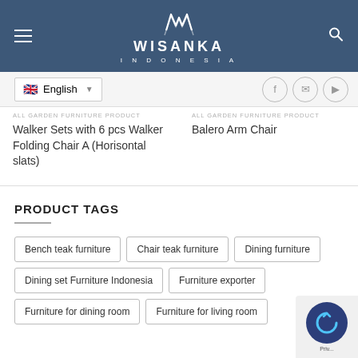WISANKA INDONESIA
ALL GARDEN FURNITURE PRODUCT
Walker Sets with 6 pcs Walker Folding Chair A (Horisontal slats)
ALL GARDEN FURNITURE PRODUCT
Balero Arm Chair
PRODUCT TAGS
Bench teak furniture
Chair teak furniture
Dining furniture
Dining set Furniture Indonesia
Furniture exporter
Furniture for dining room
Furniture for living room